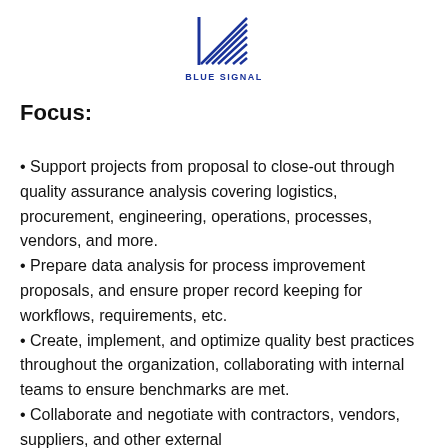[Figure (logo): Blue Signal logo: blue triangle/flag stripes icon above text BLUE SIGNAL]
Focus:
Support projects from proposal to close-out through quality assurance analysis covering logistics, procurement, engineering, operations, processes, vendors, and more.
Prepare data analysis for process improvement proposals, and ensure proper record keeping for workflows, requirements, etc.
Create, implement, and optimize quality best practices throughout the organization, collaborating with internal teams to ensure benchmarks are met.
Collaborate and negotiate with contractors, vendors, suppliers, and other external